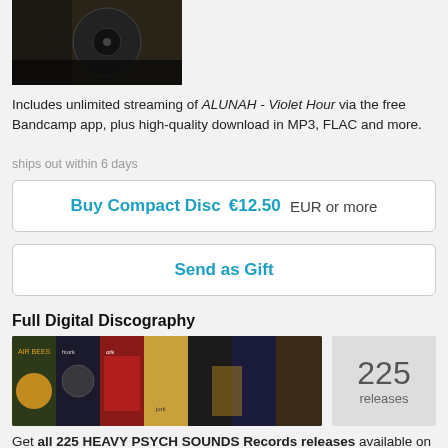[Figure (photo): Album cover image, dark background with circular disc visible]
Includes unlimited streaming of ALUNAH - Violet Hour via the free Bandcamp app, plus high-quality download in MP3, FLAC and more.
ships out within 6 days
Buy Compact Disc  €12.50 EUR or more
Send as Gift
Full Digital Discography
[Figure (photo): Grid of album covers from Heavy Psych Sounds Records discography]
225 releases
Get all 225 HEAVY PSYCH SOUNDS Records releases available on Bandcamp and save 40%.
Includes unlimited streaming via the free Bandcamp app, plus high-quality